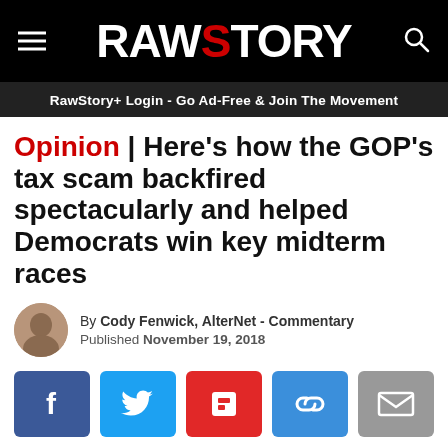RAWSTORY
RawStory+ Login - Go Ad-Free & Join The Movement
Opinion | Here's how the GOP's tax scam backfired spectacularly and helped Democrats win key midterm races
By Cody Fenwick, AlterNet - Commentary
Published November 19, 2018
[Figure (other): Social sharing buttons: Facebook, Twitter, Flipboard, Copy link, Email]
[Figure (photo): Photo of a man with light gray/blonde hair, partial view, against a blue/dark background]